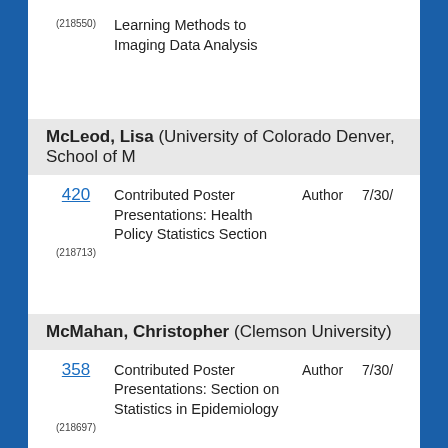(218550) Learning Methods to Imaging Data Analysis
McLeod, Lisa (University of Colorado Denver, School of M…
420 (218713) Contributed Poster Presentations: Health Policy Statistics Section Author 7/30/
McMahan, Christopher (Clemson University)
358 (218697) Contributed Poster Presentations: Section on Statistics in Epidemiology Author 7/30/